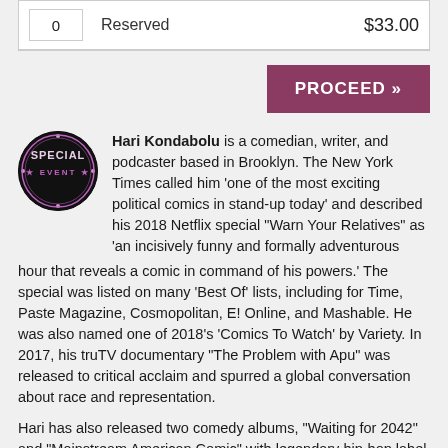| Qty | Type | Price |
| --- | --- | --- |
| 0 | Reserved | $33.00 |
[Figure (other): PROCEED >> button in dark pink/mauve color]
[Figure (logo): Circular Special Event logo badge with dark background]
Hari Kondabolu is a comedian, writer, and podcaster based in Brooklyn. The New York Times called him 'one of the most exciting political comics in stand-up today' and described his 2018 Netflix special "Warn Your Relatives" as 'an incisively funny and formally adventurous hour that reveals a comic in command of his powers.' The special was listed on many 'Best Of' lists, including for Time, Paste Magazine, Cosmopolitan, E! Online, and Mashable. He was also named one of 2018's 'Comics To Watch' by Variety. In 2017, his truTV documentary "The Problem with Apu" was released to critical acclaim and spurred a global conversation about race and representation.
Hari has also released two comedy albums, "Waiting for 2042" and "Mainstream American Comic" with legendary hip-hop label Kill Rock Stars. Additionally, he has one of…